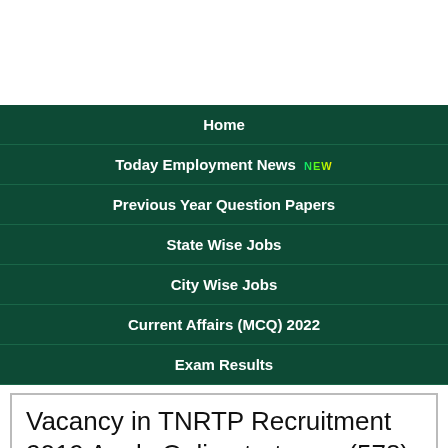[Figure (other): White header area at top of page]
Home
Today Employment News NEW
Previous Year Question Papers
State Wise Jobs
City Wise Jobs
Current Affairs (MCQ) 2022
Exam Results
Vacancy in TNRTP Recruitment 2019 Apply Online tnrtp.org (578) Project Executive – Block Team